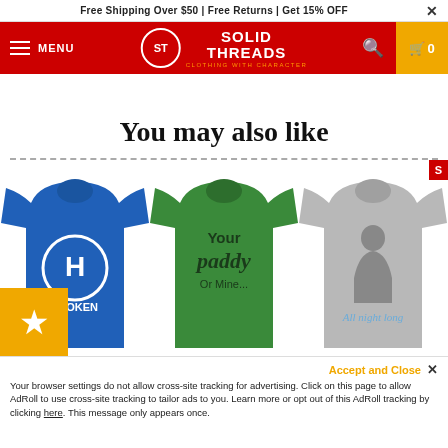Free Shipping Over $50 | Free Returns | Get 15% OFF
[Figure (screenshot): Solid Threads website navigation bar with red background, hamburger menu, MENU text, Solid Threads logo with cart icon]
You may also like
[Figure (photo): Three t-shirts: blue Hoboken H shirt, green Your Paddy Or Mine shirt, grey All Night Long shirt with partial sale badge]
Accept and Close ✕
Your browser settings do not allow cross-site tracking for advertising. Click on this page to allow AdRoll to use cross-site tracking to tailor ads to you. Learn more or opt out of this AdRoll tracking by clicking here. This message only appears once.